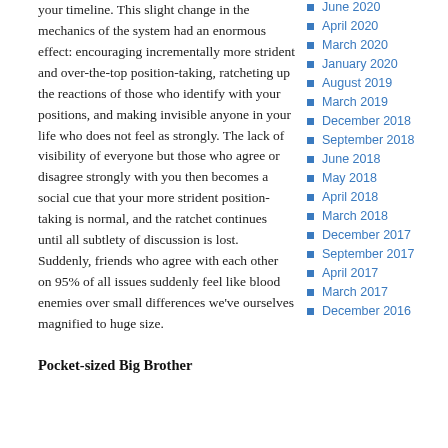your timeline. This slight change in the mechanics of the system had an enormous effect: encouraging incrementally more strident and over-the-top position-taking, ratcheting up the reactions of those who identify with your positions, and making invisible anyone in your life who does not feel as strongly. The lack of visibility of everyone but those who agree or disagree strongly with you then becomes a social cue that your more strident position-taking is normal, and the ratchet continues until all subtlety of discussion is lost. Suddenly, friends who agree with each other on 95% of all issues suddenly feel like blood enemies over small differences we've ourselves magnified to huge size.
Pocket-sized Big Brother
June 2020
April 2020
March 2020
January 2020
August 2019
March 2019
December 2018
September 2018
June 2018
May 2018
April 2018
March 2018
December 2017
September 2017
April 2017
March 2017
December 2016